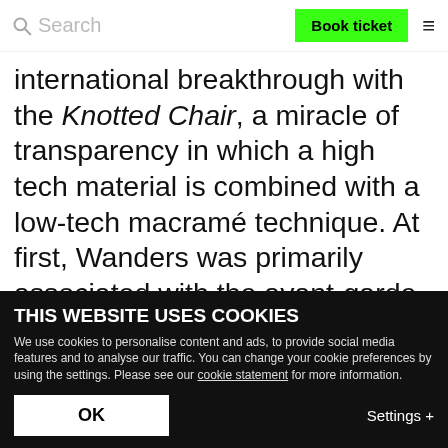Search | Book ticket | ☰
international breakthrough with the Knotted Chair, a miracle of transparency in which a high tech material is combined with a low-tech macramé technique. At first, Wanders was primarily associated with the avant-garde, conceptual direction of Dutch Design, which created an international furor largely through the activities of the Droog Design platform. However, Wanders soon found his way into the wider design industry, with particular success abroad. Since then, his
THIS WEBSITE USES COOKIES
We use cookies to personalise content and ads, to provide social media features and to analyse our traffic. You can change your cookie preferences by using the settings. Please see our cookie statement for more information.
OK | Settings +